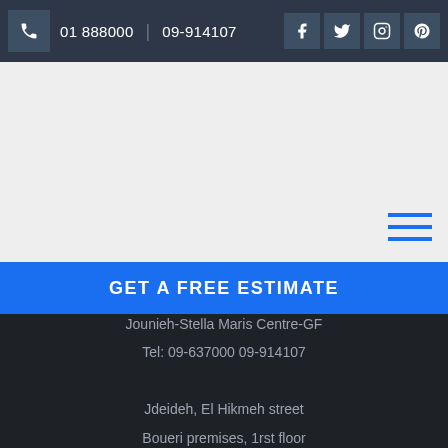01 888000  |  09-914107
[Figure (screenshot): Gray content area with hamburger menu icon in bottom-right corner]
GET A FREE ESTIMATE
Jounieh-Stella Maris Centre-GF
Tel:  09-637000  09-914107
Jdeideh, El Hikmeh street
Boueri premises, 1rst floor